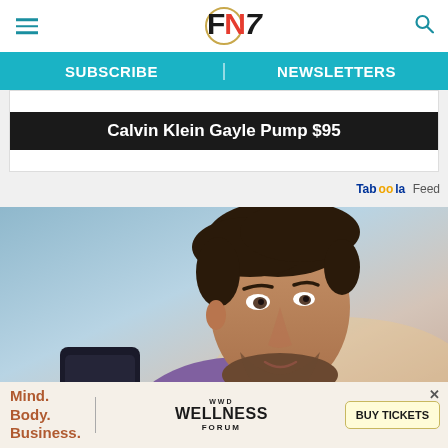FN7 (Footwear News) website header with hamburger menu, logo, and search icon
SUBSCRIBE | NEWSLETTERS
Calvin Klein Gayle Pump $95
Taboola Feed
[Figure (photo): Photo of a man with dark hair and beard looking at a smartphone, against a sky background]
[Figure (infographic): Bottom advertisement bar: Mind. Body. Business. | WWD WELLNESS FORUM | BUY TICKETS button]